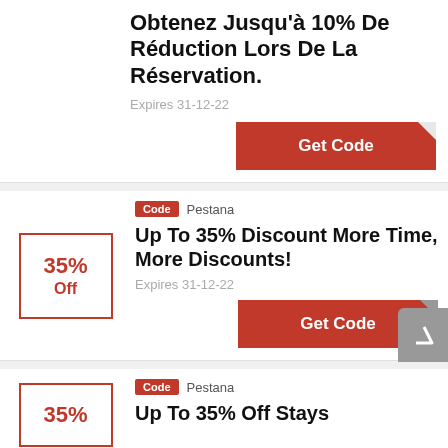Obtenez Jusqu'à 10% De Réduction Lors De La Réservation.
Expires 31-12-22
Get Code
Code  Pestana
35% Off
Up To 35% Discount More Time, More Discounts!
Expires 31-12-22
Get Code
Code  Pestana
35%
Up To 35% Off Stays